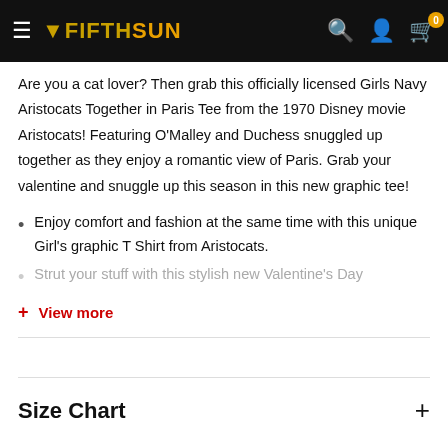Fifth Sun – navigation bar with logo, search, account, and cart icons
Are you a cat lover? Then grab this officially licensed Girls Navy Aristocats Together in Paris Tee from the 1970 Disney movie Aristocats! Featuring O'Malley and Duchess snuggled up together as they enjoy a romantic view of Paris. Grab your valentine and snuggle up this season in this new graphic tee!
Enjoy comfort and fashion at the same time with this unique Girl's graphic T Shirt from Aristocats.
Strut your stuff with this stylish new Valentine's Day
+ View more
Size Chart